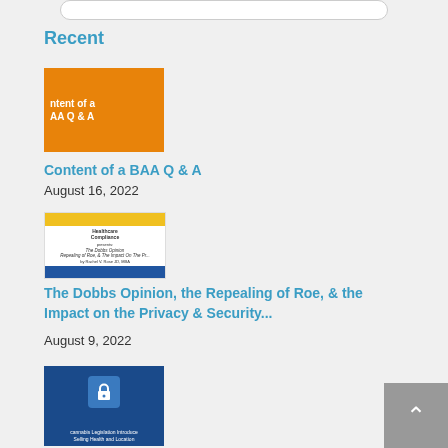Recent
[Figure (photo): Orange book cover showing 'Content of a BAA Q & A' with colorful letter blocks in a jar]
Content of a BAA Q & A
August 16, 2022
[Figure (photo): Document cover: The Dobbs Opinion, Repealing of Roe & The Impact on the Privacy & Security, yellow and blue bordered white cover]
The Dobbs Opinion, the Repealing of Roe, & the Impact on the Privacy & Security...
August 9, 2022
[Figure (photo): Blue image with padlock icon and cannabis/medical leaves, cannabis legislation introducing/selling health and location text at bottom]